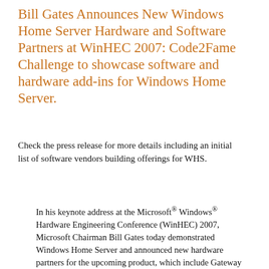Bill Gates Announces New Windows Home Server Hardware and Software Partners at WinHEC 2007: Code2Fame Challenge to showcase software and hardware add-ins for Windows Home Server.
Check the press release for more details including an initial list of software vendors building offerings for WHS.
In his keynote address at the Microsoft® Windows® Hardware Engineering Conference (WinHEC) 2007, Microsoft Chairman Bill Gates today demonstrated Windows Home Server and announced new hardware partners for the upcoming product, which include Gateway Inc., LaCie and Medion International. The company also announced that it will release a version of the software for system builders, named eight independent software vendors that will provide applications for Windows Home Server, and debited the...